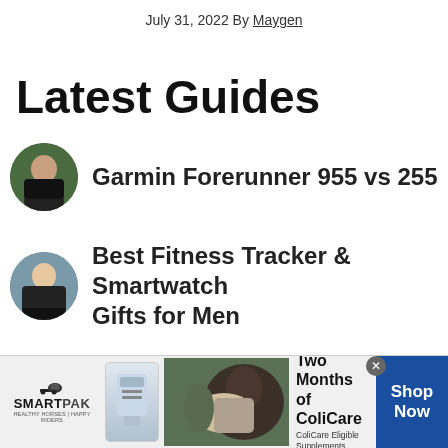July 31, 2022 By Maygen
Latest Guides
Garmin Forerunner 955 vs 255
Best Fitness Tracker & Smartwatch Gifts for Men
[Figure (infographic): SmartPak advertisement banner: 50% Off Two Months of ColiCare, ColiCare Eligible Supplements, CODE: COLICARE10, with Shop Now button]